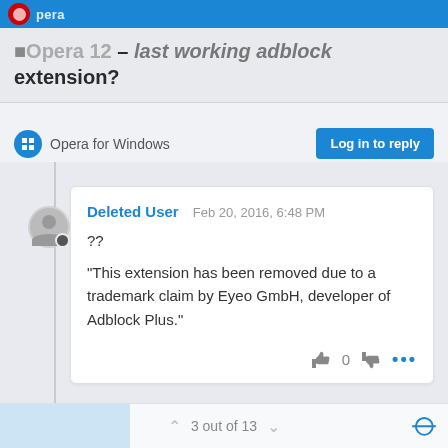Opera 12 - last working adblock extension?
Opera 12 — last working adblock extension?
Opera for Windows
Log in to reply
Deleted User   Feb 20, 2016, 6:48 PM

??

"This extension has been removed due to a trademark claim by Eyeo GmbH, developer of Adblock Plus."
3 out of 13